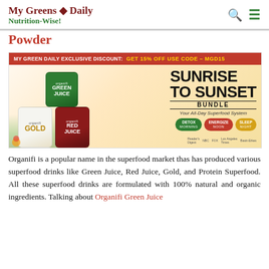My Greens Daily Nutrition-Wise!
Powder
[Figure (infographic): Organifi Sunrise to Sunset Bundle advertisement showing Green Juice, Gold, and Red Juice products. Discount banner: MY GREEN DAILY EXCLUSIVE DISCOUNT: GET 15% OFF USE CODE – MGD15. SUNRISE TO SUNSET BUNDLE – Your All-Day Superfood System with DETOX MORNING, ENERGIZE NOON, SLEEP NIGHT pills. As seen on: Reader's Digest, NBC, FOX, Los Angeles Times, Basin-Erkes.]
Organifi is a popular name in the superfood market thas has produced various superfood drinks like Green Juice, Red Juice, Gold, and Protein Superfood. All these superfood drinks are formulated with 100% natural and organic ingredients. Talking about Organifi Green Juice